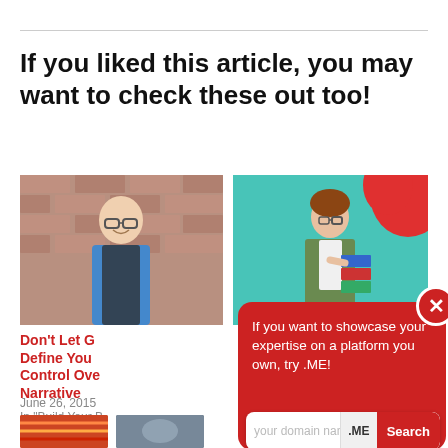If you liked this article, you may want to check these out too!
[Figure (photo): Photo of a smiling middle-aged man wearing glasses and a blue shirt with a dark vest, standing in front of a brick wall.]
[Figure (photo): Photo of a young woman with short hair holding books/folders, wearing a green jacket, against a teal background with a red blob shape.]
Don't Let G
Define You
Control Ove
Narrative
June 26, 2015
In "Build Your B
[Figure (screenshot): Popup overlay with red background containing the text: 'If you want to showcase your expertise on a platform you own, try .ME!' with a domain search bar showing 'your domain name .ME Search' and an X close button.]